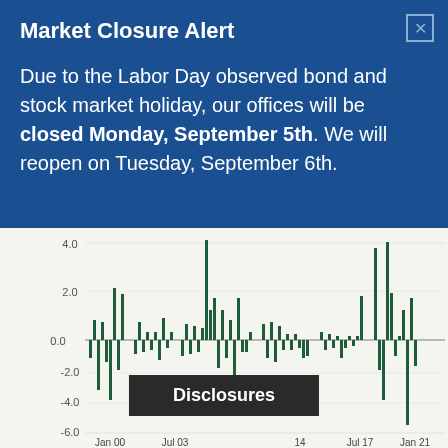Market Closure Alert
Due to the Labor Day observed bond and stock market holiday, our offices will be closed Monday, September 5th. We will reopen on Tuesday, September 6th.
[Figure (bar-chart): Bar chart showing positive and negative market returns from Jan 00 to Jan 21, with y-axis ranging from -6.0 to 4.0]
Disclosures